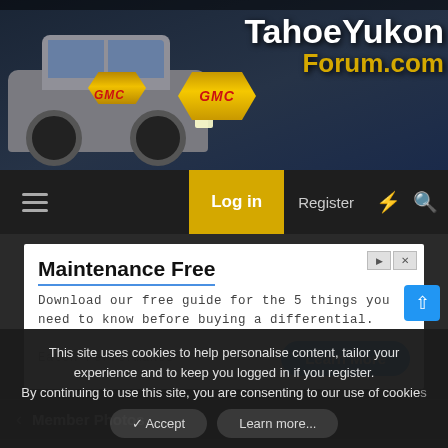[Figure (screenshot): TahoeYukonForum.com website header banner with GMC/Chevy SUV image and site logo]
TahoeYukon Forum.com
Log in  Register
[Figure (screenshot): Advertisement: Maintenance Free - Download our free guide for the 5 things you need to know before buying a differential. Eaton Performance. Learn More button.]
< Member Photos
--- Photos: SPOTTER'S THREAD (post up all
This site uses cookies to help personalise content, tailor your experience and to keep you logged in if you register. By continuing to use this site, you are consenting to our use of cookies.
Accept  Learn more...